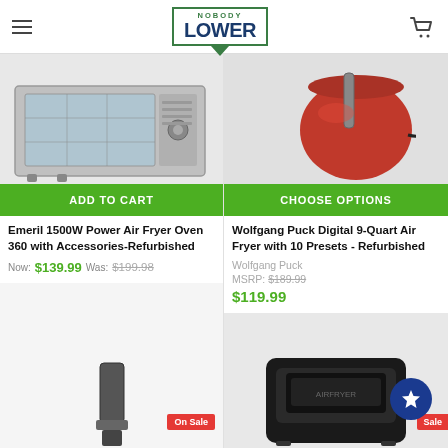Nobody Lower
[Figure (photo): Emeril 1500W Power Air Fryer Oven 360 — stainless steel countertop oven, partial view]
[Figure (photo): Wolfgang Puck Digital 9-Quart Air Fryer — red air fryer, partial top view]
ADD TO CART
CHOOSE OPTIONS
Emeril 1500W Power Air Fryer Oven 360 with Accessories-Refurbished
Wolfgang Puck Digital 9-Quart Air Fryer with 10 Presets - Refurbished
Now: $139.99  Was: $199.98
Wolfgang Puck
MSRP: $189.99
$119.99
On Sale
[Figure (photo): Partial blender or grinder product image at bottom left]
[Figure (photo): Black air fryer product image at bottom right with blue star badge and Sale badge]